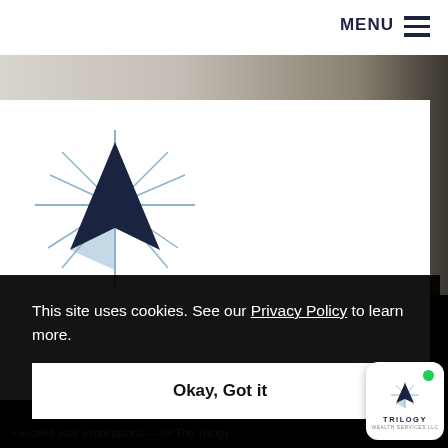MENU
[Figure (logo): Trilogy Wealth Services compass star logo — dark navy triangle/arrow with light blue starburst rays]
This site uses cookies. See our Privacy Policy to learn more.
Okay, Got it
[Figure (logo): Trilogy Wealth Services small widget with green dot indicator]
exceed your expectations - let The Trilogy